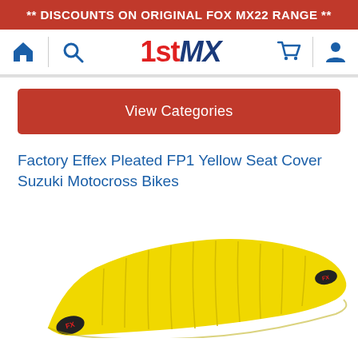** DISCOUNTS ON ORIGINAL FOX MX22 RANGE **
[Figure (screenshot): 1stMX website navigation bar with home, search, logo, cart and account icons]
View Categories
Factory Effex Pleated FP1 Yellow Seat Cover Suzuki Motocross Bikes
[Figure (photo): Yellow Factory Effex pleated FP1 seat cover for Suzuki motocross bikes, shown at an angle against white background]